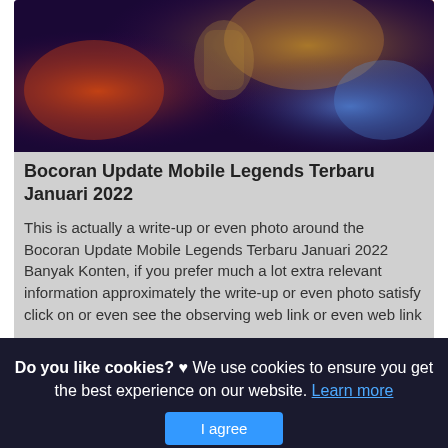[Figure (illustration): Game artwork showing a Mobile Legends character with glowing purple, orange, and gold effects on a dark background]
Bocoran Update Mobile Legends Terbaru Januari 2022
This is actually a write-up or even photo around the Bocoran Update Mobile Legends Terbaru Januari 2022 Banyak Konten, if you prefer much a lot extra relevant information approximately the write-up or even photo satisfy click on or even see the observing web link or even web link .
(Read More)
Source: games.grid.id Visit Web
Do you like cookies? ♥ We use cookies to ensure you get the best experience on our website. Learn more
I agree